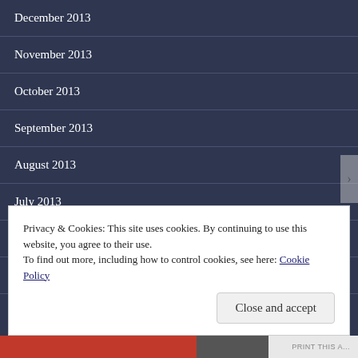December 2013
November 2013
October 2013
September 2013
August 2013
July 2013
June 2013
May 2013
April 2013 (truncated)
Privacy & Cookies: This site uses cookies. By continuing to use this website, you agree to their use.
To find out more, including how to control cookies, see here: Cookie Policy
Close and accept